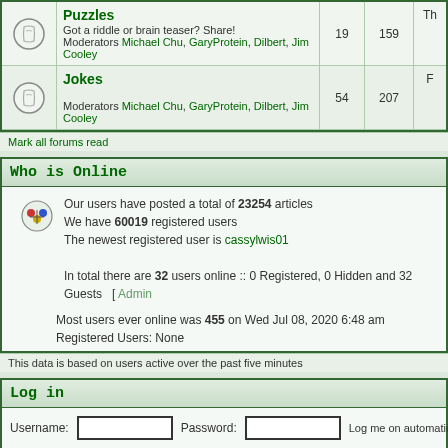|  | Forum | Topics | Posts | Last Post |
| --- | --- | --- | --- | --- |
| [icon] | Puzzles
Got a riddle or brain teaser? Share!
Moderators Michael Chu, GaryProtein, Dilbert, Jim Cooley | 19 | 159 | Th... |
| [icon] | Jokes
Moderators Michael Chu, GaryProtein, Dilbert, Jim Cooley | 54 | 207 | F... |
Mark all forums read
Who is Online
Our users have posted a total of 23254 articles
We have 60019 registered users
The newest registered user is cassylwis01
In total there are 32 users online :: 0 Registered, 0 Hidden and 32 Guests  [ Admin...
Most users ever online was 455 on Wed Jul 08, 2020 6:48 am
Registered Users: None
This data is based on users active over the past five minutes
Log in
Username:   Password:   Log me on automatically each
New posts   No new posts   Forum is lo...
Powered by phpBB © 2001, 2005 phpBB Group